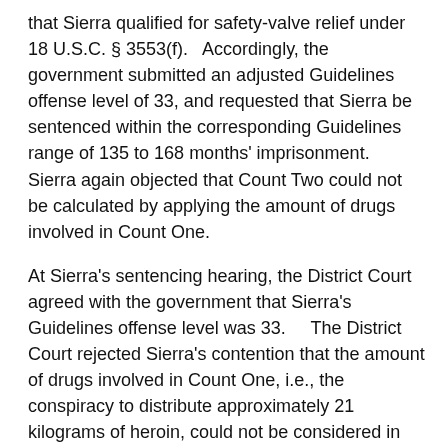that Sierra qualified for safety-valve relief under 18 U.S.C. § 3553(f).  Accordingly, the government submitted an adjusted Guidelines offense level of 33, and requested that Sierra be sentenced within the corresponding Guidelines range of 135 to 168 months' imprisonment.   Sierra again objected that Count Two could not be calculated by applying the amount of drugs involved in Count One.
At Sierra's sentencing hearing, the District Court agreed with the government that Sierra's Guidelines offense level was 33.    The District Court rejected Sierra's contention that the amount of drugs involved in Count One, i.e., the conspiracy to distribute approximately 21 kilograms of heroin, could not be considered in calculating the base offense level for Count Two, i.e., the conspiracy to launder proceeds from the sale of 2 to 3.5 kilograms of heroin.3   Upon reviewing the factors set forth in 18 U.S.C. §  3553(a) in addition to the Guidelines, the District Court sentenced Sierra to concurrent terms of